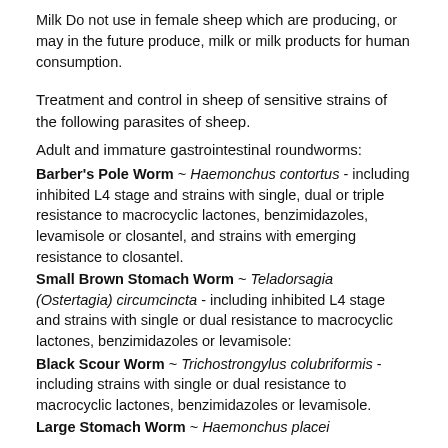Milk Do not use in female sheep which are producing, or may in the future produce, milk or milk products for human consumption.
Treatment and control in sheep of sensitive strains of the following parasites of sheep.
Adult and immature gastrointestinal roundworms:
Barber's Pole Worm ~ Haemonchus contortus - including inhibited L4 stage and strains with single, dual or triple resistance to macrocyclic lactones, benzimidazoles, levamisole or closantel, and strains with emerging resistance to closantel.
Small Brown Stomach Worm ~ Teladorsagia (Ostertagia) circumcincta - including inhibited L4 stage and strains with single or dual resistance to macrocyclic lactones, benzimidazoles or levamisole:
Black Scour Worm ~ Trichostrongylus colubriformis - including strains with single or dual resistance to macrocyclic lactones, benzimidazoles or levamisole.
Large Stomach Worm ~ Haemonchus placei